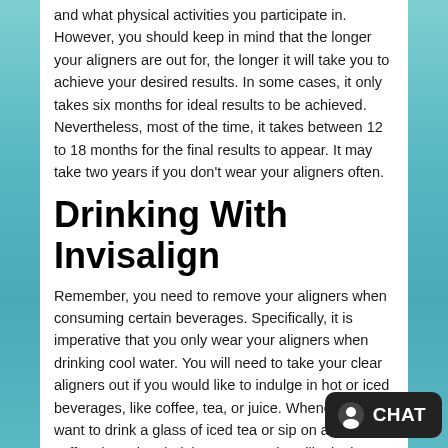and what physical activities you participate in. However, you should keep in mind that the longer your aligners are out for, the longer it will take you to achieve your desired results. In some cases, it only takes six months for ideal results to be achieved. Nevertheless, most of the time, it takes between 12 to 18 months for the final results to appear. It may take two years if you don't wear your aligners often.
Drinking With Invisalign
Remember, you need to remove your aligners when consuming certain beverages. Specifically, it is imperative that you only wear your aligners when drinking cool water. You will need to take your clear aligners out if you would like to indulge in hot or iced beverages, like coffee, tea, or juice. Whenever you want to drink a glass of iced tea or sip on a cup of coffee, keep in mind that your results will take longer to appear the longer your aligners are out.